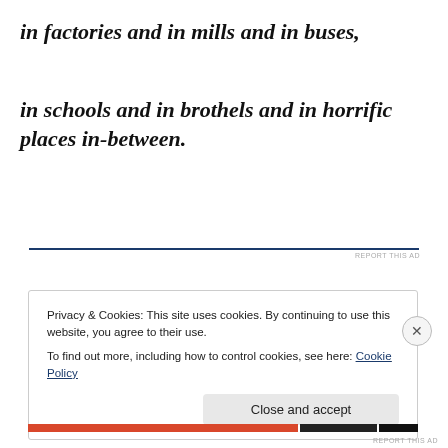in factories and in mills and in buses,
in schools and in brothels and in horrific places in-between.
REPORT THIS AD
Privacy & Cookies: This site uses cookies. By continuing to use this website, you agree to their use.
To find out more, including how to control cookies, see here: Cookie Policy
Close and accept
REPORT THIS AD